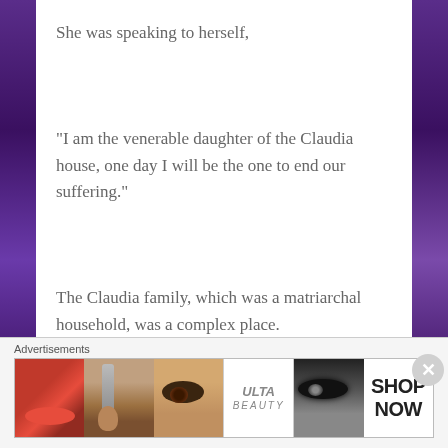She was speaking to herself,
“I am the venerable daughter of the Claudia house, one day I will be the one to end our suffering.”
The Claudia family, which was a matriarchal household, was a complex place.
[Figure (other): Advertisement bar at bottom showing Ulta Beauty ad with makeup images (lips, brush, eye, Ulta logo, smoky eye, SHOP NOW)]